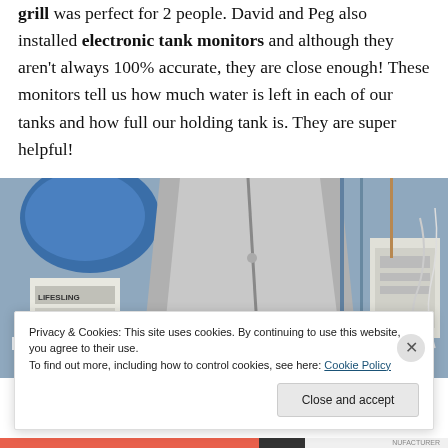grill was perfect for 2 people. David and Peg also installed electronic tank monitors and although they aren't always 100% accurate, they are close enough! These monitors tell us how much water is left in each of our tanks and how full our holding tank is. They are super helpful!
[Figure (photo): Photo of a boat storage area with a blue bag, silver sail cover partially opened revealing a cat resting inside, a white box on the right (possibly electronic equipment), drumsticks, and a LIFESLING rescue device bag on the left.]
Privacy & Cookies: This site uses cookies. By continuing to use this website, you agree to their use.
To find out more, including how to control cookies, see here: Cookie Policy